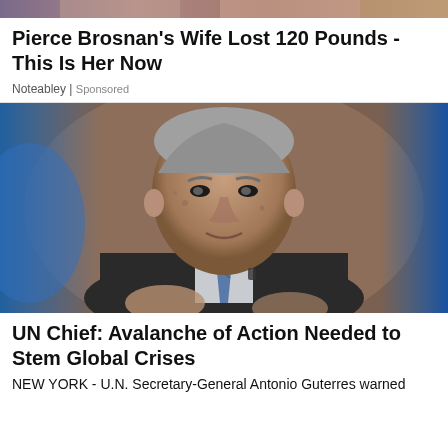[Figure (photo): Cropped top portion of a photo showing people, partially visible at the top of the page]
Pierce Brosnan's Wife Lost 120 Pounds - This Is Her Now
Noteabley | Sponsored
[Figure (photo): Photo of UN Secretary-General Antonio Guterres, an older man with grey hair wearing a dark suit and blue patterned tie, gesturing with his hands against a blue and brown blurred background]
UN Chief: Avalanche of Action Needed to Stem Global Crises
NEW YORK - U.N. Secretary-General Antonio Guterres warned